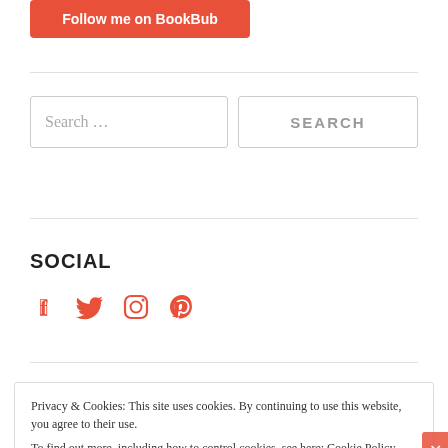[Figure (other): Red BookBub follow button with white bold text 'Follow me on BookBub']
Search …
SEARCH
SOCIAL
[Figure (other): Four social media icons (Facebook, Twitter, Instagram, Pinterest) in orange/red color]
Privacy & Cookies: This site uses cookies. By continuing to use this website, you agree to their use.
To find out more, including how to control cookies, see here: Cookie Policy
Close and accept